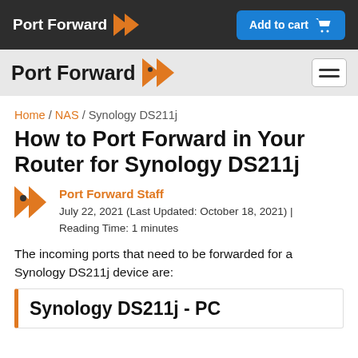Port Forward | Add to cart
Port Forward
Home / NAS / Synology DS211j
How to Port Forward in Your Router for Synology DS211j
Port Forward Staff
July 22, 2021 (Last Updated: October 18, 2021) | Reading Time: 1 minutes
The incoming ports that need to be forwarded for a Synology DS211j device are:
Synology DS211j - PC